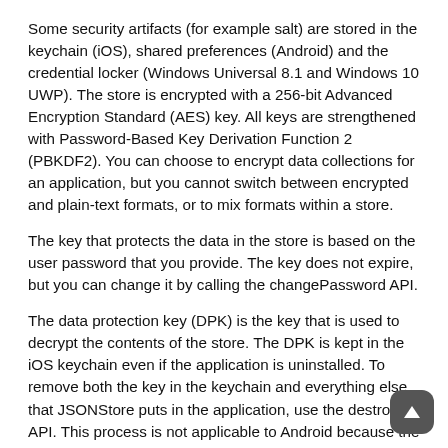Some security artifacts (for example salt) are stored in the keychain (iOS), shared preferences (Android) and the credential locker (Windows Universal 8.1 and Windows 10 UWP). The store is encrypted with a 256-bit Advanced Encryption Standard (AES) key. All keys are strengthened with Password-Based Key Derivation Function 2 (PBKDF2). You can choose to encrypt data collections for an application, but you cannot switch between encrypted and plain-text formats, or to mix formats within a store.
The key that protects the data in the store is based on the user password that you provide. The key does not expire, but you can change it by calling the changePassword API.
The data protection key (DPK) is the key that is used to decrypt the contents of the store. The DPK is kept in the iOS keychain even if the application is uninstalled. To remove both the key in the keychain and everything else that JSONStore puts in the application, use the destroy API. This process is not applicable to Android because the encrypted DPK is stored in shared preferences and wiped out when the application is uninstalled.
The first time that JSONStore opens a collection with a password, which means that the developer wants to encrypt data